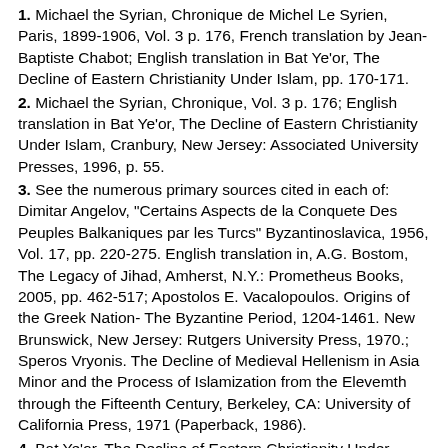1. Michael the Syrian, Chronique de Michel Le Syrien, Paris, 1899-1906, Vol. 3 p. 176, French translation by Jean-Baptiste Chabot; English translation in Bat Ye'or, The Decline of Eastern Christianity Under Islam, pp. 170-171.
2. Michael the Syrian, Chronique, Vol. 3 p. 176; English translation in Bat Ye'or, The Decline of Eastern Christianity Under Islam, Cranbury, New Jersey: Associated University Presses, 1996, p. 55.
3. See the numerous primary sources cited in each of: Dimitar Angelov, "Certains Aspects de la Conquete Des Peuples Balkaniques par les Turcs" Byzantinoslavica, 1956, Vol. 17, pp. 220-275. English translation in, A.G. Bostom, The Legacy of Jihad, Amherst, N.Y.: Prometheus Books, 2005, pp. 462-517; Apostolos E. Vacalopoulos. Origins of the Greek Nation- The Byzantine Period, 1204-1461. New Brunswick, New Jersey: Rutgers University Press, 1970.; Speros Vryonis. The Decline of Medieval Hellenism in Asia Minor and the Process of Islamization from the Elevemth through the Fifteenth Century, Berkeley, CA: University of California Press, 1971 (Paperback, 1986).
4. Bat Ye'or, The Decline of Eastern Christianity Under Islam, p. 55-56.
5. Paul Wittek. The Rise of the Ottoman Empire. London, The Royal Asiatic Society of Great Britain and Ireland, 1938 (reprinted 1966), p. 18.
6. Speros Vryonis. "Nomadization and Islamization in Asia Minor", Dumbarton Oaks Papers, Vol.29, 1975, p. 49.